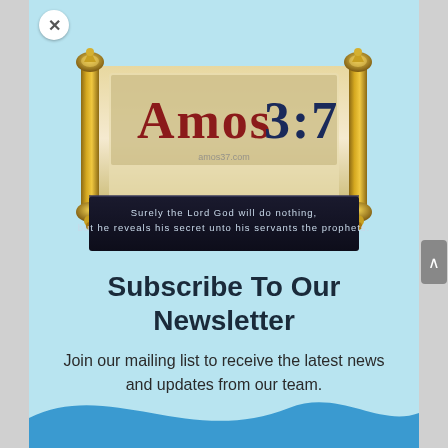[Figure (logo): Amos 3:7 website logo — a scroll graphic with 'Amos 3:7' text and the verse 'Surely the Lord God will do nothing, but he reveals his secret unto his servants the prophets.' displayed on a dark banner below the scroll.]
Subscribe To Our Newsletter
Join our mailing list to receive the latest news and updates from our team.